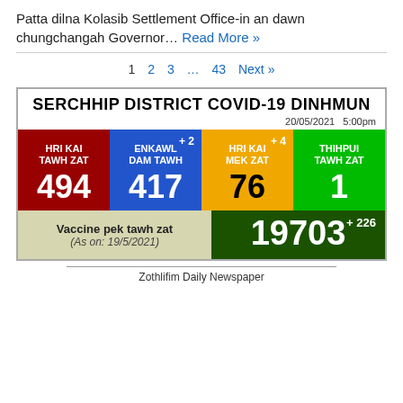Patta dilna Kolasib Settlement Office-in an dawn chungchangah Governor… Read More »
1   2   3   …   43   Next »
[Figure (infographic): Serchhip District COVID-19 Dinhmun infographic showing stats: HRI KAI TAWH ZAT 494, ENKAWL DAM TAWH 417 (+2), HRI KAI MEK ZAT 76 (+4), THIHPUI TAWH ZAT 1, Vaccine pek tawh zat 19703 (+226, As on: 19/5/2021), dated 20/05/2021 5:00pm]
Zothlifim Daily Newspaper